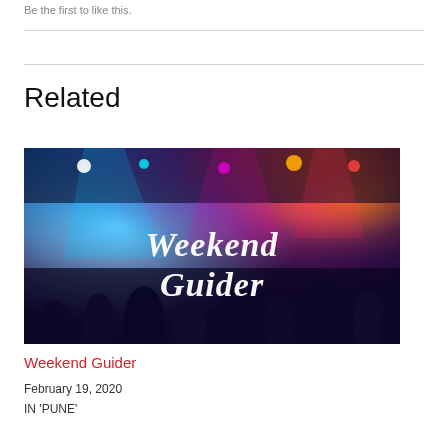Be the first to like this.
Related
[Figure (photo): Nightclub scene with colorful stage lights in blue, red and pink. Crowd of people visible in silhouette. White script text overlay reads 'Weekend Guider'.]
Weekend Guider
February 19, 2020
IN 'PUNE'